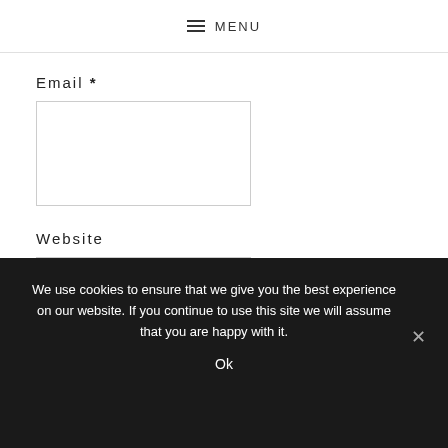MENU
Email *
Website
We use cookies to ensure that we give you the best experience on our website. If you continue to use this site we will assume that you are happy with it.
Ok